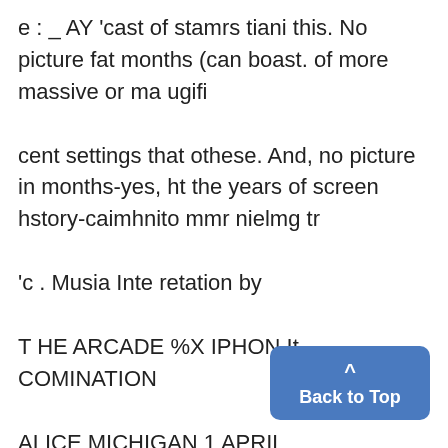e : _ AY 'cast of stamrs tiani this. No picture fat months (can boast. of more massive or ma ugifi

cent settings that othese. And, no picture in months-yes, ht the years of screen hstory-caimhnito mmr nielmg tr

'c . Musia Inte retation by

T HE ARCADE %X IPHON It. COMINATION

ALICE MICHIGAN 1 APRIL

CATOO LOCALS TOPICS

E xpe t An m ate Alw ys G od Spice, W it and F, Novlty = isdomi

' * farl' 3'PICTORIAL NEWS AND REVIEW
Back to Top